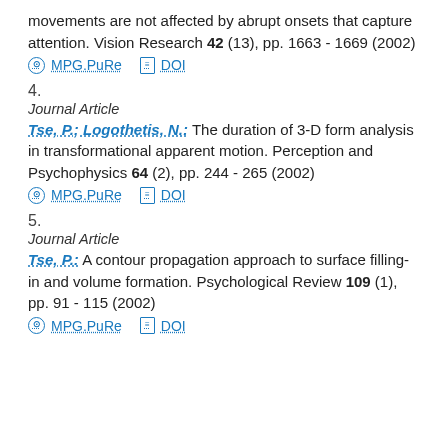movements are not affected by abrupt onsets that capture attention. Vision Research 42 (13), pp. 1663 - 1669 (2002)
MPG.PuRe   DOI
4.
Journal Article
Tse, P.; Logothetis, N.: The duration of 3-D form analysis in transformational apparent motion. Perception and Psychophysics 64 (2), pp. 244 - 265 (2002)
MPG.PuRe   DOI
5.
Journal Article
Tse, P.: A contour propagation approach to surface filling-in and volume formation. Psychological Review 109 (1), pp. 91 - 115 (2002)
MPG.PuRe   DOI